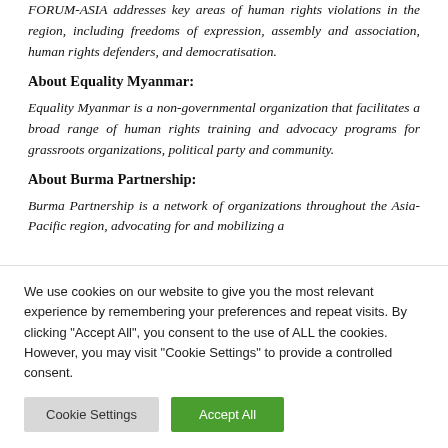FORUM-ASIA addresses key areas of human rights violations in the region, including freedoms of expression, assembly and association, human rights defenders, and democratisation.
About Equality Myanmar:
Equality Myanmar is a non-governmental organization that facilitates a broad range of human rights training and advocacy programs for grassroots organizations, political party and community.
About Burma Partnership:
Burma Partnership is a network of organizations throughout the Asia-Pacific region, advocating for and mobilizing a
We use cookies on our website to give you the most relevant experience by remembering your preferences and repeat visits. By clicking "Accept All", you consent to the use of ALL the cookies. However, you may visit "Cookie Settings" to provide a controlled consent.